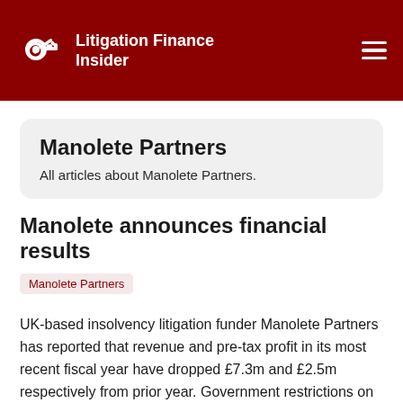Litigation Finance Insider
Manolete Partners
All articles about Manolete Partners.
Manolete announces financial results
Manolete Partners
UK-based insolvency litigation funder Manolete Partners has reported that revenue and pre-tax profit in its most recent fiscal year have dropped £7.3m and £2.5m respectively from prior year. Government restrictions on the insolvency industry and widespread government